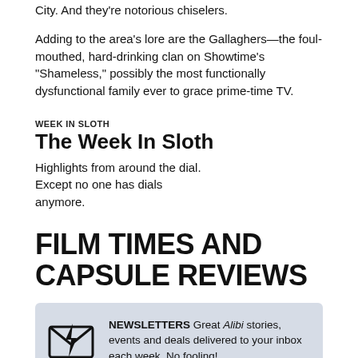City. And they're notorious chiselers.
Adding to the area's lore are the Gallaghers—the foul-mouthed, hard-drinking clan on Showtime's "Shameless," possibly the most functionally dysfunctional family ever to grace prime-time TV.
WEEK IN SLOTH
The Week In Sloth
Highlights from around the dial. Except no one has dials anymore.
FILM TIMES AND CAPSULE REVIEWS
[Figure (infographic): Newsletter signup box with envelope/lightning bolt icon. Text: NEWSLETTERS Great Alibi stories, events and deals delivered to your inbox each week. No fooling!]